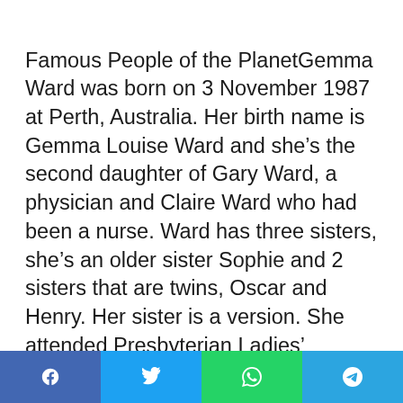Famous People of the PlanetGemma Ward was born on 3 November 1987 at Perth, Australia. Her birth name is Gemma Louise Ward and she's the second daughter of Gary Ward, a physician and Claire Ward who had been a nurse. Ward has three sisters, she's an older sister Sophie and 2 sisters that are twins, Oscar and Henry. Her sister is a version. She attended Presbyterian Ladies' College and Shenton College. Ward's enthusiasm for acting began when she was 10 years old. She seemed at a school play named Hansel and Gretel where she acted as a witch.
[Figure (other): Social media share buttons: Facebook (blue), Twitter (light blue), WhatsApp (green), Telegram (blue)]